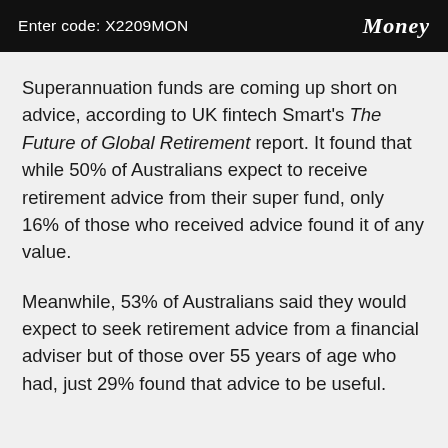Enter code: X2209MON   Money
Superannuation funds are coming up short on advice, according to UK fintech Smart's The Future of Global Retirement report. It found that while 50% of Australians expect to receive retirement advice from their super fund, only 16% of those who received advice found it of any value.
Meanwhile, 53% of Australians said they would expect to seek retirement advice from a financial adviser but of those over 55 years of age who had, just 29% found that advice to be useful.